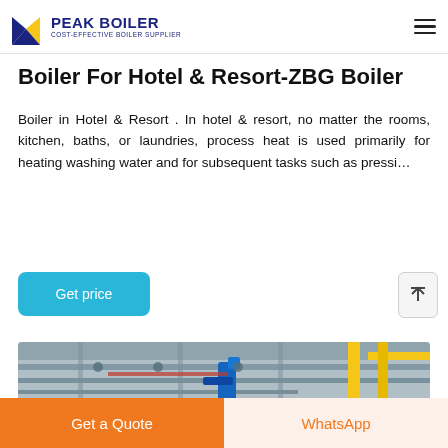PEAK BOILER - COST-EFFECTIVE BOILER SUPPLIER
Boiler For Hotel & Resort-ZBG Boiler
Boiler in Hotel & Resort . In hotel & resort, no matter the rooms, kitchen, baths, or laundries, process heat is used primarily for heating washing water and for subsequent tasks such as pressi…
[Figure (other): Get price button (teal/blue rounded rectangle)]
[Figure (photo): Industrial boiler room with pipes, yellow structural elements, and industrial equipment]
Get a Quote | WhatsApp